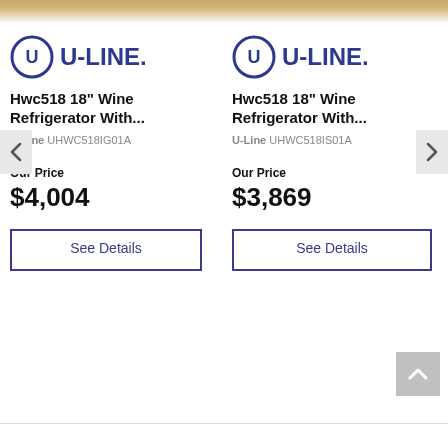[Figure (logo): U-Line brand logo with circular U icon, left card]
Hwc518 18" Wine Refrigerator With...
U-Line UHWC518IG01A
Our Price
$4,004
See Details
[Figure (logo): U-Line brand logo with circular U icon, right card]
Hwc518 18" Wine Refrigerator With...
U-Line UHWC518IS01A
Our Price
$3,869
See Details